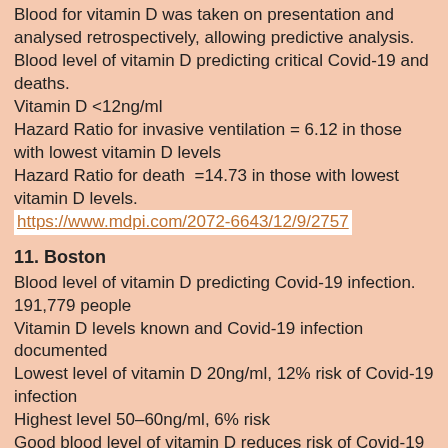Blood for vitamin D was taken on presentation and analysed retrospectively, allowing predictive analysis. Blood level of vitamin D predicting critical Covid-19 and deaths.
Vitamin D <12ng/ml
Hazard Ratio for invasive ventilation = 6.12 in those with lowest vitamin D levels
Hazard Ratio for death =14.73 in those with lowest vitamin D levels.
https://www.mdpi.com/2072-6643/12/9/2757
11. Boston
Blood level of vitamin D predicting Covid-19 infection. 191,779 people
Vitamin D levels known and Covid-19 infection documented
Lowest level of vitamin D 20ng/ml, 12% risk of Covid-19 infection
Highest level 50–60ng/ml, 6% risk
Good blood level of vitamin D reduces risk of Covid-19 infection by 50%
https://doi.org/10.1371/journal.pone.0239252